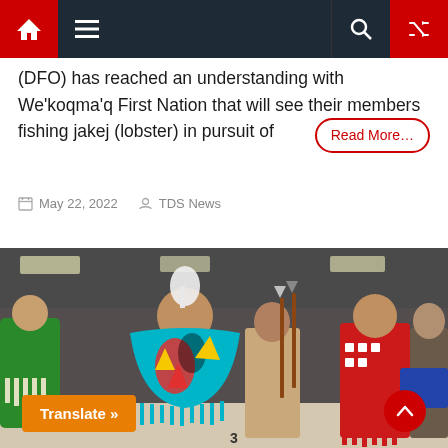Navigation bar with home, menu, search, and random icons
(DFO) has reached an understanding with We'koqma'q First Nation that will see their members fishing jakej (lobster) in pursuit of
Read More...
May 22, 2022   TDS News
[Figure (photo): Indigenous dancers in traditional regalia at an indoor powwow event. Dancers wear colorful beaded garments; one in the foreground wears a bright turquoise shawl with multicolored designs, another wears a red outfit with white and red beadwork. The venue appears to be a large indoor hall.]
Translate »